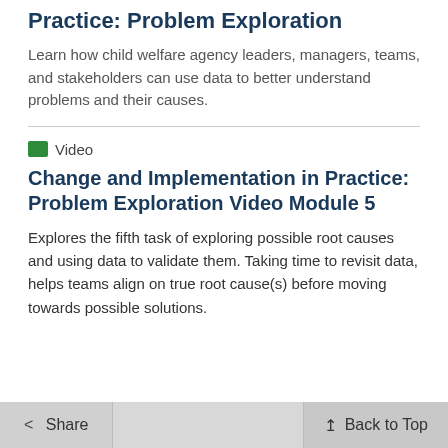Practice: Problem Exploration
Learn how child welfare agency leaders, managers, teams, and stakeholders can use data to better understand problems and their causes.
Video
Change and Implementation in Practice: Problem Exploration Video Module 5
Explores the fifth task of exploring possible root causes and using data to validate them. Taking time to revisit data, helps teams align on true root cause(s) before moving towards possible solutions.
Share   Back to Top